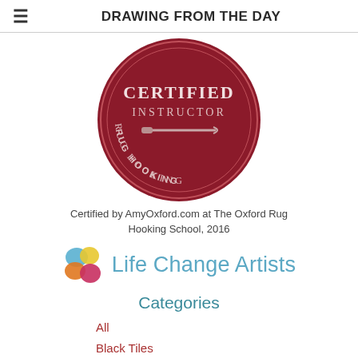DRAWING FROM THE DAY
[Figure (logo): Circular dark red badge with text 'CERTIFIED INSTRUCTOR RUG HOOKING' and a rug hook tool illustration in the center]
Certified by AmyOxford.com at The Oxford Rug Hooking School, 2016
[Figure (logo): Life Change Artists logo: colorful overlapping paint blobs in blue, yellow, orange, and pink, followed by text 'Life Change Artists' in light blue]
Categories
All
Black Tiles
Bookbinding
Broken Wrist Tangles